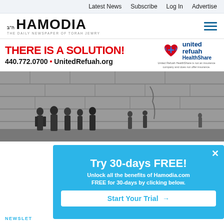Latest News   Subscribe   Log In   Advertise
HAMODIA – THE DAILY NEWSPAPER OF TORAH JEWRY
[Figure (infographic): United Refuah HealthShare advertisement banner. Red text: THERE IS A SOLUTION! Phone: 440.772.0700 • UnitedRefuah.org. United Refuah HealthShare logo with heart/shield icon. Disclaimer: United Refuah HealthShare is not an insurance company and does not offer insurance.]
[Figure (photo): Black and white photograph of a group of people (men in coats and hats) standing near a large stone wall, likely the Western Wall in Jerusalem.]
Try 30-days FREE! Unlock all the benefits of Hamodia.com FREE for 30-days by clicking below. Start Your Trial →
NEWSLET